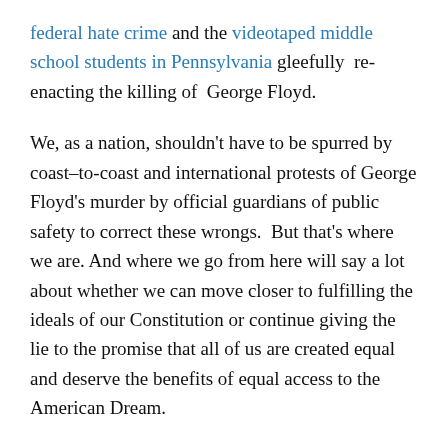federal hate crime and the videotaped middle school students in Pennsylvania gleefully re-enacting the killing of George Floyd.
We, as a nation, shouldn't have to be spurred by coast–to-coast and international protests of George Floyd's murder by official guardians of public safety to correct these wrongs.  But that's where we are. And where we go from here will say a lot about whether we can move closer to fulfilling the ideals of our Constitution or continue giving the lie to the promise that all of us are created equal and deserve the benefits of equal access to the American Dream.
I welcome your feedback in the comments section